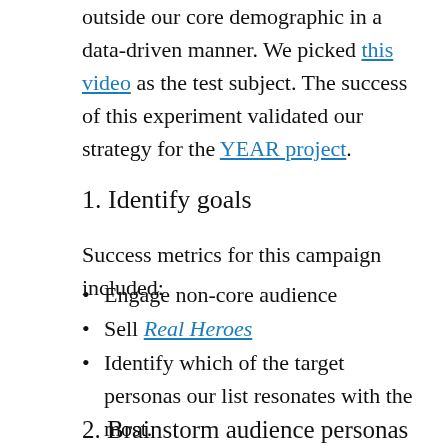outside our core demographic in a data-driven manner. We picked this video as the test subject. The success of this experiment validated our strategy for the YEAR project.
1. Identify goals
Success metrics for this campaign included:
Engage non-core audience
Sell Real Heroes
Identify which of the target personas our list resonates with the most.
2. Brainstorm audience personas
We reviewed the video and discussed what kinds of audiences would engage with it.